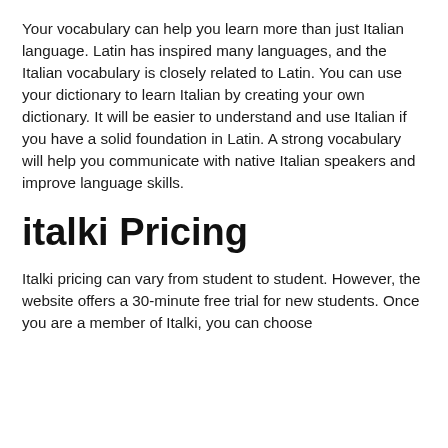Your vocabulary can help you learn more than just Italian language. Latin has inspired many languages, and the Italian vocabulary is closely related to Latin. You can use your dictionary to learn Italian by creating your own dictionary. It will be easier to understand and use Italian if you have a solid foundation in Latin. A strong vocabulary will help you communicate with native Italian speakers and improve language skills.
italki Pricing
Italki pricing can vary from student to student. However, the website offers a 30-minute free trial for new students. Once you are a member of Italki, you can choose